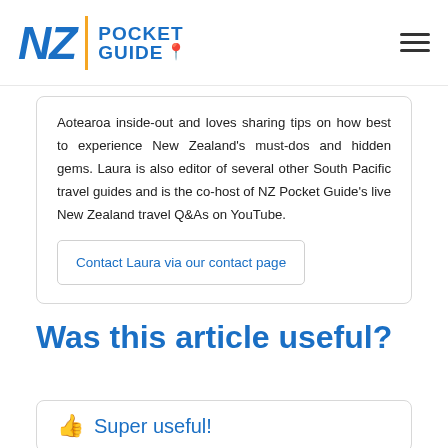NZ Pocket Guide
Aotearoa inside-out and loves sharing tips on how best to experience New Zealand's must-dos and hidden gems. Laura is also editor of several other South Pacific travel guides and is the co-host of NZ Pocket Guide's live New Zealand travel Q&As on YouTube.
Contact Laura via our contact page
Was this article useful?
Super useful!